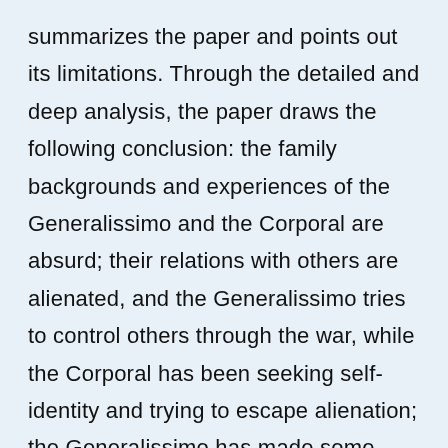summarizes the paper and points out its limitations. Through the detailed and deep analysis, the paper draws the following conclusion: the family backgrounds and experiences of the Generalissimo and the Corporal are absurd; their relations with others are alienated, and the Generalissimo tries to control others through the war, while the Corporal has been seeking self-identity and trying to escape alienation; the Generalissimo has made some irresponsible choices and ignored others' freedom while pursuing his own freedom, while the Corporal